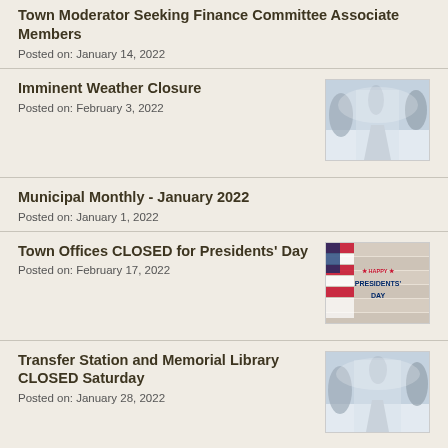Town Moderator Seeking Finance Committee Associate Members
Posted on: January 14, 2022
Imminent Weather Closure
Posted on: February 3, 2022
[Figure (photo): Snow-covered path through winter trees]
Municipal Monthly - January 2022
Posted on: January 1, 2022
Town Offices CLOSED for Presidents' Day
Posted on: February 17, 2022
[Figure (photo): Happy Presidents Day graphic with American flag and white wood background]
Transfer Station and Memorial Library CLOSED Saturday
Posted on: January 28, 2022
[Figure (photo): Snow-covered path through winter trees]
Town Offices CLOSED for Martin Luther King Day
[Figure (photo): Martin Luther King Day graphic with American flag]